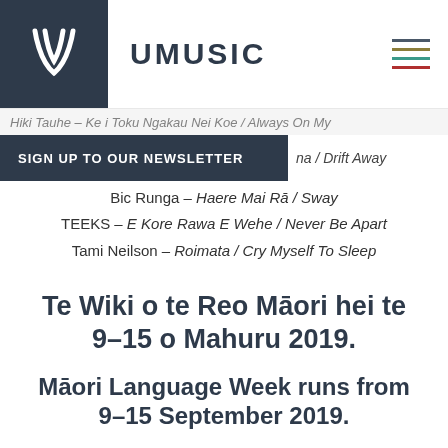UMUSIC
Hiki Tauhe – Ke i Toku Ngakau Nei Koe / Always On My
SIGN UP TO OUR NEWSLETTER
na / Drift Away
Bic Runga – Haere Mai Rā / Sway
TEEKS – E Kore Rawa E Wehe / Never Be Apart
Tami Neilson – Roimata / Cry Myself To Sleep
Te Wiki o te Reo Māori hei te 9–15 o Mahuru 2019.
Māori Language Week runs from 9–15 September 2019.